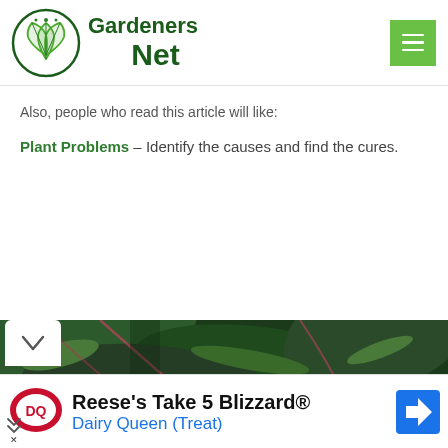Gardeners Net
Also, people who read this article will like:
Plant Problems – Identify the causes and find the cures.
[Figure (photo): Close-up photo of large tropical green leaves with pink/reddish veins, likely Aglaonema or similar plant]
Reese's Take 5 Blizzard® Dairy Queen (Treat)